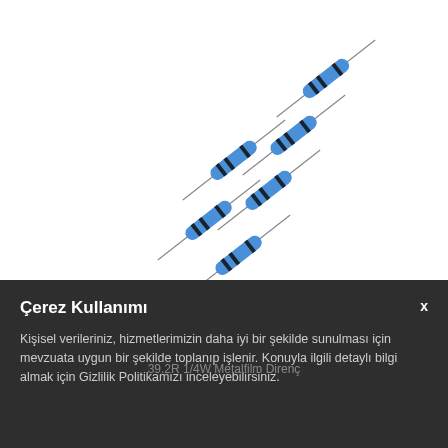[Figure (photo): Six blue metal film resistors (39.2R 1/4W) arranged diagonally on a white background, each with black band markings and wire leads extending at angles.]
39.2R 1/4W Metalfilm Direnç
Çerez Kullanımı
Kişisel verileriniz, hizmetlerimizin daha iyi bir şekilde sunulması için mevzuata uygun bir şekilde toplanıp işlenir. Konuyla ilgili detaylı bilgi almak için Gizlilik Politikamızı inceleyebilirsiniz.